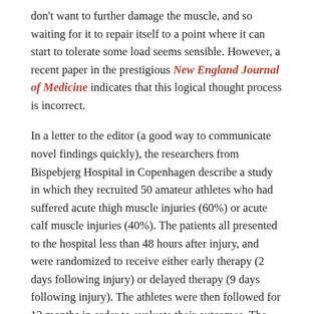don't want to further damage the muscle, and so waiting for it to repair itself to a point where it can start to tolerate some load seems sensible. However, a recent paper in the prestigious New England Journal of Medicine indicates that this logical thought process is incorrect.
In a letter to the editor (a good way to communicate novel findings quickly), the researchers from Bispebjerg Hospital in Copenhagen describe a study in which they recruited 50 amateur athletes who had suffered acute thigh muscle injuries (60%) or acute calf muscle injuries (40%). The patients all presented to the hospital less than 48 hours after injury, and were randomized to receive either early therapy (2 days following injury) or delayed therapy (9 days following injury). The athletes were then followed for 12 months in order to evaluate their outcomes. The rehabilitation therapy program was the same between the patients – in week one, it was static stretching on a daily basis, weeks 2-4 were daily isometric loading, weeks 5-8 were dynamic loads, and finally weeks 9-12 were functional exercises and heavy strength training. The only difference between the groups was the time at which they started their exercise program.